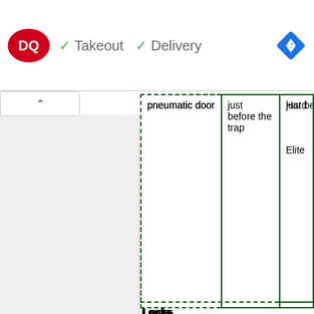[Figure (logo): Dairy Queen DQ logo red oval with white text]
✓ Takeout  ✓ Delivery
[Figure (other): Blue diamond navigation arrow icon]
|  |  |  |
| --- | --- | --- |
| pneumatic door | just before the trap | Hard |
|  |  | Elite |
Locks
| Location/Description | Quest Difficulty | Modified Roll:Result |
| --- | --- | --- |
|  | Casual | Failure: 37 Success: 38 |